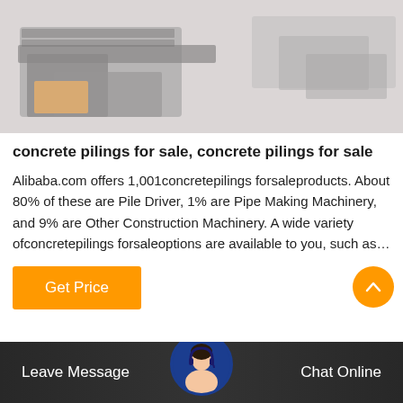[Figure (photo): Industrial machinery / construction equipment photo with muted gray-orange tones, showing pile driver or similar equipment.]
concrete pilings for sale, concrete pilings for sale
Alibaba.com offers 1,001concretepilings forsaleproducts. About 80% of these are Pile Driver, 1% are Pipe Making Machinery, and 9% are Other Construction Machinery. A wide variety ofconcretepilings forsaleoptions are available to you, such as…
[Figure (other): Orange 'Get Price' button]
[Figure (other): Orange scroll-to-top arrow button (circle)]
[Figure (photo): Bottom bar with customer service representative avatar, Leave Message and Chat Online buttons on dark background]